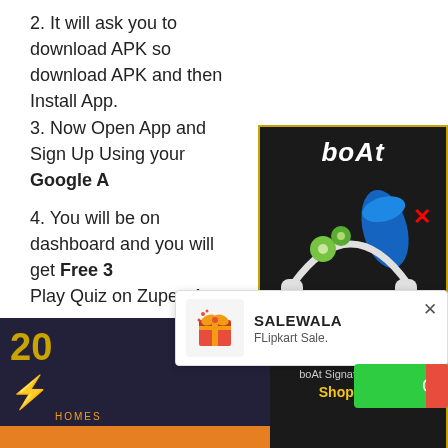2. It will ask you to download APK so download APK and then Install App.
3. Now Open App and Sign Up Using your Google A...
4. You will be on dashboard and you will get Free 3... Play Quiz on Zupee App.
5. Now Move to Menu From Upper Side Corner and... My Profile Option.
[Figure (illustration): boAt audio products advertisement banner with headphones and earbuds on dark background. Text: boAt, Get Grooving with boAt Signature Sound, Shop Now.]
[Figure (screenshot): SALEWALA popup notification with gift icon, text 'SALEWALA', 'FLipkart Sale.', close button X, and green GO NOW..... button.]
[Figure (screenshot): Bottom partial screenshot of dark-themed app with orange elements and text reading 'HOMES']